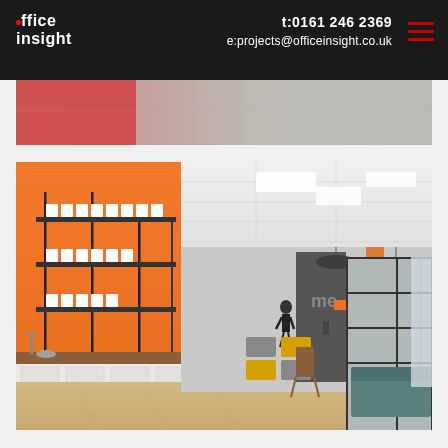office insight | t: 0161 246 2369 | e: projects@officeinsight.co.uk
[Figure (photo): Partial top view of an interior office space with red/orange and grey tones, showing ceiling area]
[Figure (photo): Modern open-plan office interior with bright orange accent wall featuring metal shelving with white mugs, white kitchen cabinets with wooden countertop, sink, hardwood flooring, and open office space with grey and yellow seating pods in the background]